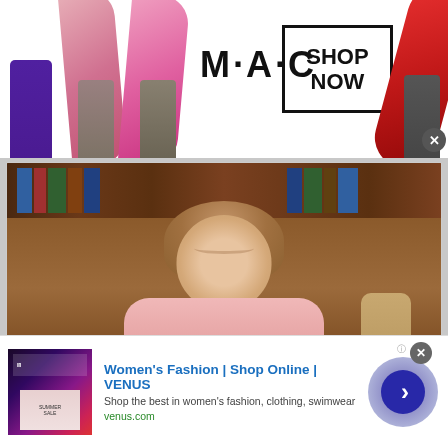[Figure (photo): MAC Cosmetics advertisement banner with lipsticks on left and right, MAC logo in center, and SHOP NOW box on right side]
[Figure (photo): Older woman with shoulder-length brown hair wearing a pink sweater, smiling, seated in front of a bookshelf]
Gail Hale is the daughter of Jean Strickland, who is a long-term
[Figure (screenshot): Women's Fashion | Shop Online | VENUS advertisement. Shop the best in women's fashion, clothing, swimwear. venus.com]